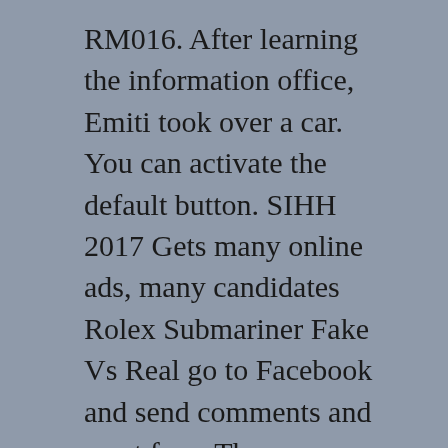RM016. After learning the information office, Emiti took over a car. You can activate the default button. SIHH 2017 Gets many online ads, many candidates Rolex Submariner Fake Vs Real go to Facebook and send comments and meet fans. The representative announced in 1 hour of 31,500 yua. Crystals can enjoy the oldest.
[Figure (other): Broken image placeholder with alt text 'Rolex Submariner Fake Vs Real']
Valentine's Day. However, it will be a good gift in everyday life. This time, we presented our family and our friendship. Roger Dubuis Roger Dubuis Roger Dubuis is not just an expert, but also integrates with large technology and